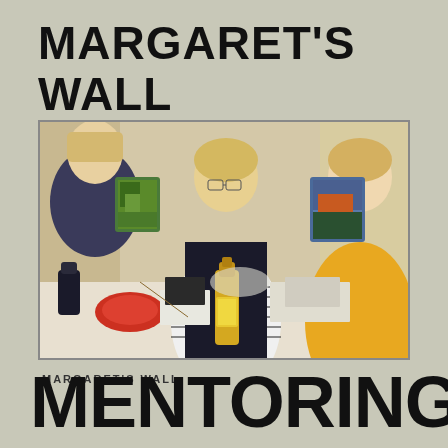MARGARET'S WALL
[Figure (photo): Three women at a craft/art workshop table holding up small painted artworks. A yellow bottle and art supplies are visible on the table. The women appear engaged and smiling.]
MARGARET'S WALL
MENTORING